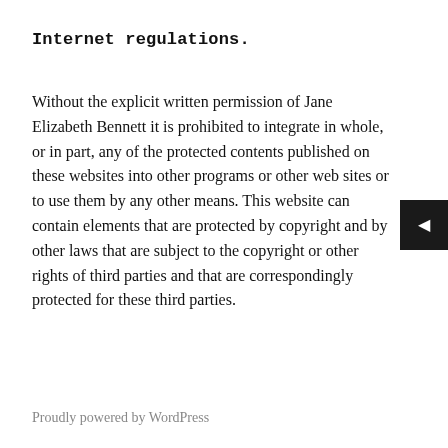Internet regulations.
Without the explicit written permission of Jane Elizabeth Bennett it is prohibited to integrate in whole, or in part, any of the protected contents published on these websites into other programs or other web sites or to use them by any other means. This website can contain elements that are protected by copyright and by other laws that are subject to the copyright or other rights of third parties and that are correspondingly protected for these third parties.
Proudly powered by WordPress